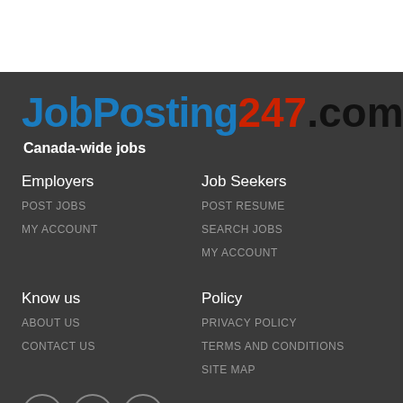[Figure (logo): JobPosting247.com logo with blue 'JobPosting', red '247', black '.com']
Canada-wide jobs
Employers
POST JOBS
MY ACCOUNT
Job Seekers
POST RESUME
SEARCH JOBS
MY ACCOUNT
Know us
ABOUT US
CONTACT US
Policy
PRIVACY POLICY
TERMS AND CONDITIONS
SITE MAP
[Figure (illustration): Social media icons: Facebook, Twitter, Google+]